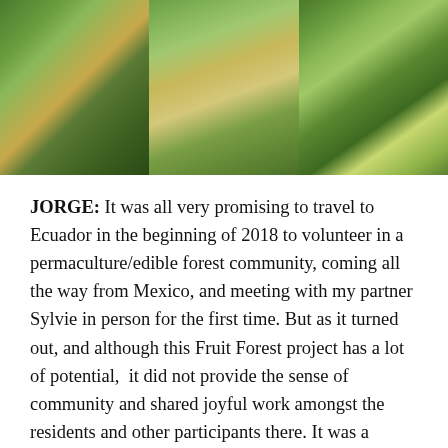[Figure (photo): Three side-by-side photographs showing a permaculture/edible forest setting in Ecuador: left image shows green banana/tropical plants, center image shows a person crouching in a cleared field among lush greenery, right image shows a person standing next to a tree laden with large green fruits (papayas).]
JORGE: It was all very promising to travel to Ecuador in the beginning of 2018 to volunteer in a permaculture/edible forest community, coming all the way from Mexico, and meeting with my partner Sylvie in person for the first time. But as it turned out, and although this Fruit Forest project has a lot of potential,  it did not provide the sense of community and shared joyful work amongst the residents and other participants there. It was a welcomed experience for me though, involving very intense physical activities with machete in one hand and preparing our own meals with the other. I feel content of both contributing with my best effort towards the culmination of this project, and also about all the